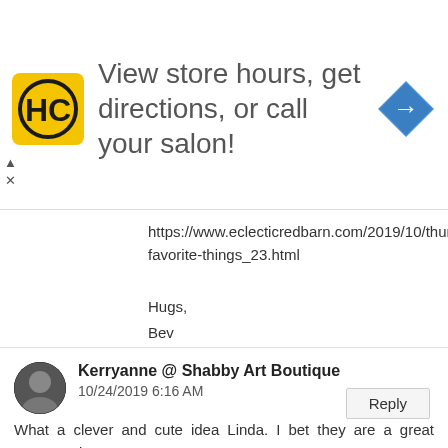[Figure (other): Advertisement banner with HC logo, text 'View store hours, get directions, or call your salon!', and a blue arrow navigation icon]
https://www.eclecticredbarn.com/2019/10/thursday-favorite-things_23.html
Hugs,
Bev
Reply
[Figure (photo): Circular avatar photo of Kerryanne, appears to be a grayscale portrait]
Kerryanne @ Shabby Art Boutique
10/24/2019 6:16 AM
What a clever and cute idea Linda. I bet they are a great conversation starter too!
Thank you for sharing this project at Create, Bake, Grow & Gather this week. I'm delighted to be featuring